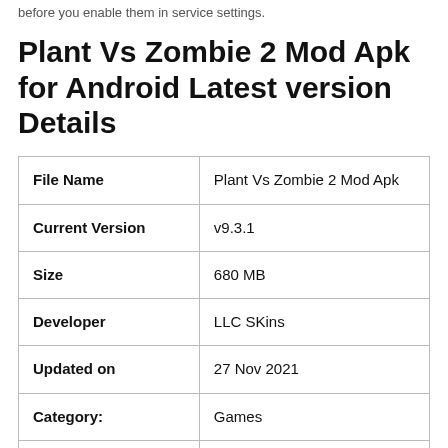before you enable them in service settings.
Plant Vs Zombie 2 Mod Apk for Android Latest version Details
| File Name | Plant Vs Zombie 2 Mod Apk |
| Current Version | v9.3.1 |
| Size | 680 MB |
| Developer | LLC SKins |
| Updated on | 27 Nov 2021 |
| Category: | Games |
| Rating | 4.8 stars |
| Requires | Android 5.0 And Up |